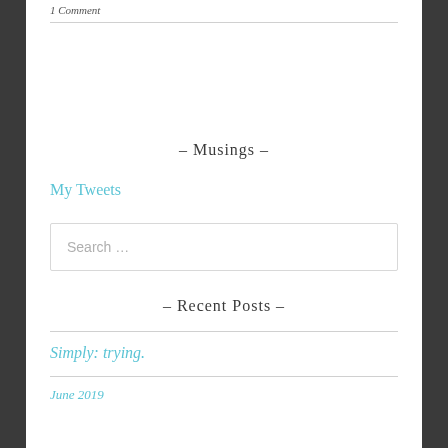1 Comment
- Musings -
My Tweets
Search …
- Recent Posts -
Simply: trying.
June 2019